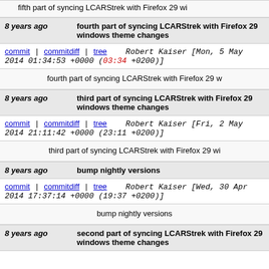fifth part of syncing LCARStrek with Firefox 29 wi
8 years ago    fourth part of syncing LCARStrek with Firefox 29 windows theme changes
commit | commitdiff | tree    Robert Kaiser [Mon, 5 May 2014 01:34:53 +0000 (03:34 +0200)]
fourth part of syncing LCARStrek with Firefox 29 w
8 years ago    third part of syncing LCARStrek with Firefox 29 windows theme changes
commit | commitdiff | tree    Robert Kaiser [Fri, 2 May 2014 21:11:42 +0000 (23:11 +0200)]
third part of syncing LCARStrek with Firefox 29 wi
8 years ago    bump nightly versions
commit | commitdiff | tree    Robert Kaiser [Wed, 30 Apr 2014 17:37:14 +0000 (19:37 +0200)]
bump nightly versions
8 years ago    second part of syncing LCARStrek with Firefox 29 windows theme changes